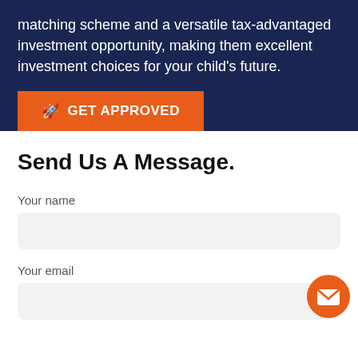matching scheme and a versatile tax-advantaged investment opportunity, making them excellent investment choices for your child's future.
[Figure (other): Orange button with rocket icon and text GET APPROVED]
Send Us A Message.
Your name
Your email
[Figure (other): Orange circular button with white envelope/mail icon]